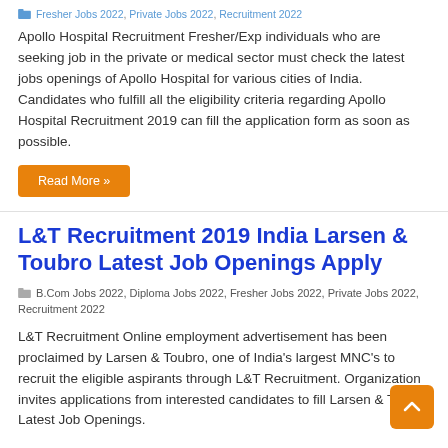Fresher Jobs 2022, Private Jobs 2022, Recruitment 2022
Apollo Hospital Recruitment Fresher/Exp individuals who are seeking job in the private or medical sector must check the latest jobs openings of Apollo Hospital for various cities of India. Candidates who fulfill all the eligibility criteria regarding Apollo Hospital Recruitment 2019 can fill the application form as soon as possible.
Read More »
L&T Recruitment 2019 India Larsen & Toubro Latest Job Openings Apply
B.Com Jobs 2022, Diploma Jobs 2022, Fresher Jobs 2022, Private Jobs 2022, Recruitment 2022
L&T Recruitment Online employment advertisement has been proclaimed by Larsen & Toubro, one of India's largest MNC's to recruit the eligible aspirants through L&T Recruitment. Organization invites applications from interested candidates to fill Larsen & Toubro Latest Job Openings.